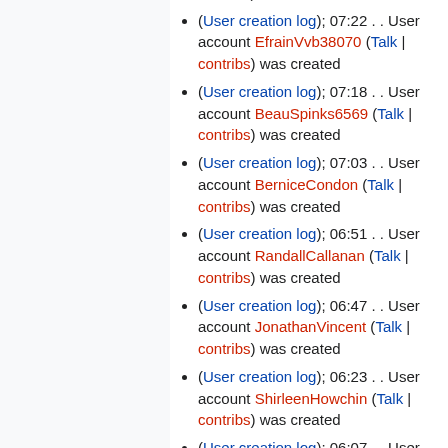(User creation log); 07:22 . . User account EfrainVvb38070 (Talk | contribs) was created
(User creation log); 07:18 . . User account BeauSpinks6569 (Talk | contribs) was created
(User creation log); 07:03 . . User account BerniceCondon (Talk | contribs) was created
(User creation log); 06:51 . . User account RandallCallanan (Talk | contribs) was created
(User creation log); 06:47 . . User account JonathanVincent (Talk | contribs) was created
(User creation log); 06:23 . . User account ShirleenHowchin (Talk | contribs) was created
(User creation log); 06:07 . . User account IvanLeger85240 (Talk | contribs) was created